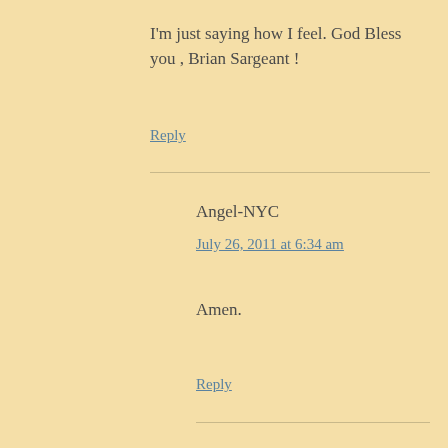I'm just saying how I feel. God Bless you , Brian Sargeant !
Reply
Angel-NYC
July 26, 2011 at 6:34 am
Amen.
Reply